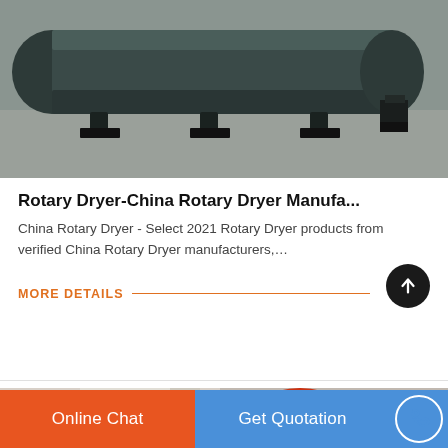[Figure (photo): Industrial rotary dryer equipment on a factory floor, showing large cylindrical metal drum and support components on a concrete surface.]
Rotary Dryer-China Rotary Dryer Manufa...
China Rotary Dryer - Select 2021 Rotary Dryer products from verified China Rotary Dryer manufacturers,…
MORE DETAILS
[Figure (photo): Close-up of orange/red industrial machinery component, possibly a gear or drum mechanism.]
Online Chat
Get Quotation